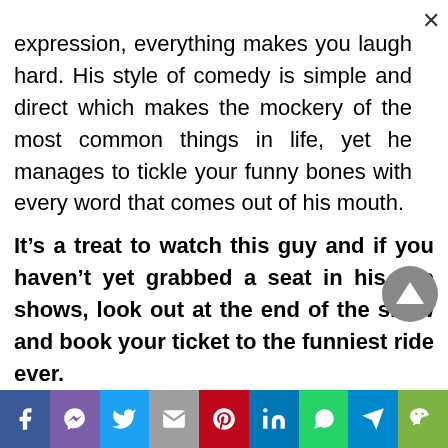expression, everything makes you laugh hard. His style of comedy is simple and direct which makes the mockery of the most common things in life, yet he manages to tickle your funny bones with every word that comes out of his mouth.
It’s a treat to watch this guy and if you haven’t yet grabbed a seat in his live shows, look out at the end of the show and book your ticket to the funniest ride ever.